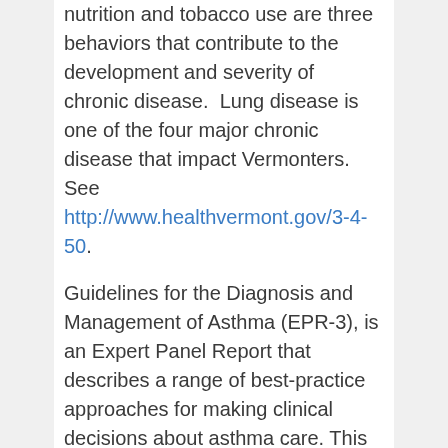nutrition and tobacco use are three behaviors that contribute to the development and severity of chronic disease. Lung disease is one of the four major chronic disease that impact Vermonters. See http://www.healthvermont.gov/3-4-50.
Guidelines for the Diagnosis and Management of Asthma (EPR-3), is an Expert Panel Report that describes a range of best-practice approaches for making clinical decisions about asthma care. This expert panel was convened in 2007 by the National Asthma Education and